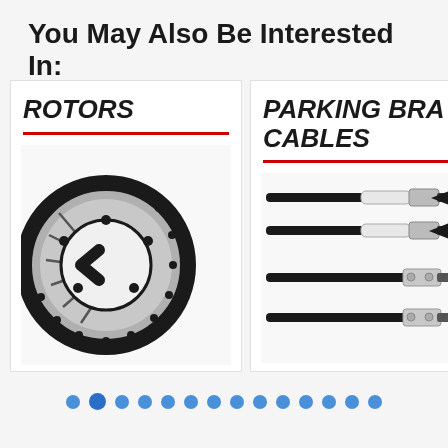You May Also Be Interested In:
[Figure (photo): Product card showing brake rotors — card with bold italic text 'ROTORS', red underline, and image of a slotted brake rotor disc]
[Figure (photo): Product card showing parking brake cables — card with bold italic text 'PARKING BRAKE CABLES', red underline, and image of four parking brake cables with end fittings]
[Figure (infographic): Navigation dots row — 14 blue filled circles indicating carousel position, with second dot slightly larger/darker (active)]